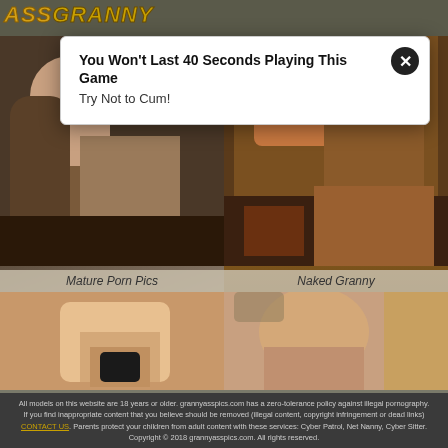ASS GRANNY
[Figure (photo): Thumbnail photo top left - Mature Porn Pics]
Mature Porn Pics
[Figure (photo): Thumbnail photo top right - Naked Granny]
Naked Granny
[Figure (screenshot): Advertisement popup overlay - You Won't Last 40 Seconds Playing This Game / Try Not to Cum!]
[Figure (photo): Bottom left photo - Live Sexy Models]
Live Sexy Models 🔥
[Figure (photo): Bottom right photo - Wanna Fuck Hot Grannies?]
Wanna Fuck Hot Grannies?
All models on this website are 18 years or older. grannyasspics.com has a zero-tolerance policy against illegal pornography. If you find inappropriate content that you believe should be removed (illegal content, copyright infringement or dead links) CONTACT US. Parents protect your children from adult content with these services: Cyber Patrol, Net Nanny, Cyber Sitter. Copyright © 2018 grannyasspics.com. All rights reserved.